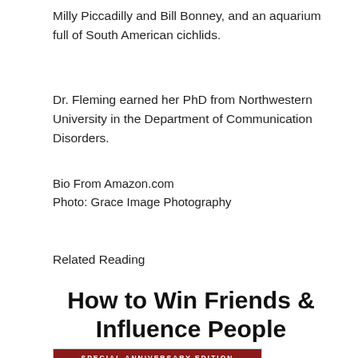Milly Piccadilly and Bill Bonney, and an aquarium full of South American cichlids.
Dr. Fleming earned her PhD from Northwestern University in the Department of Communication Disorders.
Bio From Amazon.com
Photo: Grace Image Photography
Related Reading
[Figure (illustration): Book cover of 'How to Win Friends & Influence People' Special Anniversary Edition, showing the book title in bold black text, a red bar with 'SPECIAL ANNIVERSARY EDITION' text, and a light gray area with 'HOW TO' in red text.]